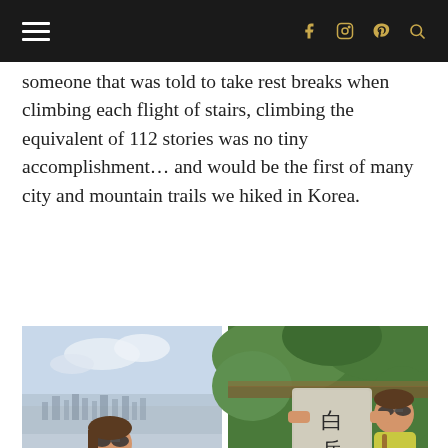[hamburger menu] [facebook] [instagram] [pinterest] [search]
someone that was told to take rest breaks when climbing each flight of stairs, climbing the equivalent of 112 stories was no tiny accomplishment… and would be the first of many city and mountain trails we hiked in Korea.
[Figure (photo): Two side-by-side photos: left shows a woman in sunglasses and yellow top smiling with Seoul cityscape behind her; right shows the same woman posing with a Korean mountain summit stone marker reading 白岳山 海拔342m]
The highest I've ever climbed. Maybe it isn't very high by mountain standards,